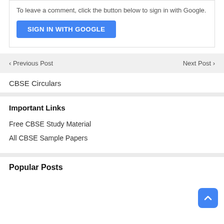To leave a comment, click the button below to sign in with Google.
[Figure (other): Blue 'SIGN IN WITH GOOGLE' button]
< Previous Post
Next Post >
CBSE Circulars
Important Links
Free CBSE Study Material
All CBSE Sample Papers
Popular Posts